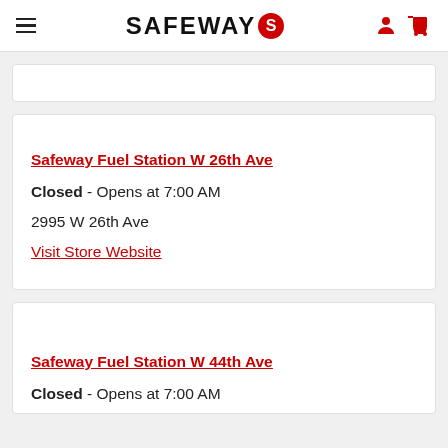SAFEWAY
Safeway Fuel Station W 26th Ave
Closed - Opens at 7:00 AM
2995 W 26th Ave
Visit Store Website
Safeway Fuel Station W 44th Ave
Closed - Opens at 7:00 AM